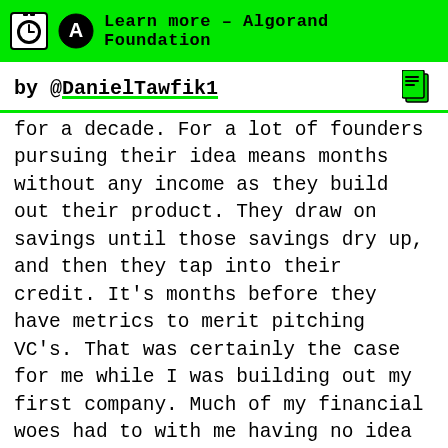Learn more – Algorand Foundation
by @DanielTawfik1
for a decade. For a lot of founders pursuing their idea means months without any income as they build out their product. They draw on savings until those savings dry up, and then they tap into their credit. It's months before they have metrics to merit pitching VC's. That was certainly the case for me while I was building out my first company. Much of my financial woes had to with me having no idea what I was doing frankly. I put things on my credit card that did nothing to push the needle of growing our company. In one case, I put thirteen hundred dollars into printing company t-shirts—which of course amounted to growing the company by zero customers. In retrospect, I would have done